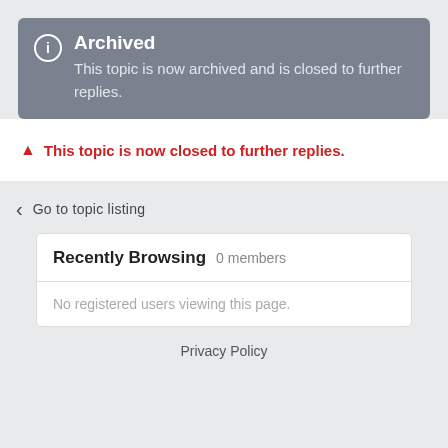Archived
This topic is now archived and is closed to further replies.
This topic is now closed to further replies.
Go to topic listing
Recently Browsing   0 members
No registered users viewing this page.
Privacy Policy